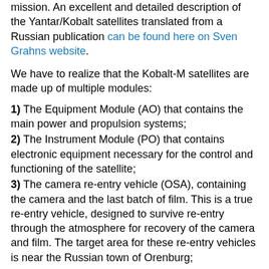mission. An excellent and detailed description of the Yantar/Kobalt satellites translated from a Russian publication can be found here on Sven Grahns website.
We have to realize that the Kobalt-M satellites are made up of multiple modules:
1) The Equipment Module (AO) that contains the main power and propulsion systems;
2) The Instrument Module (PO) that contains electronic equipment necessary for the control and functioning of the satellite;
3) The camera re-entry vehicle (OSA), containing the camera and the last batch of film. This is a true re-entry vehicle, designed to survive re-entry through the atmosphere for recovery of the camera and film. The target area for these re-entry vehicles is near the Russian town of Orenburg;
4) a 2.5 meter sun shade with additional antennae and sensors on the tip of the OSA, that is presumably jettisoned at re-entry.
The satellite also has two additional small re-entry and landing capsules for the recovery of film mounted on the side